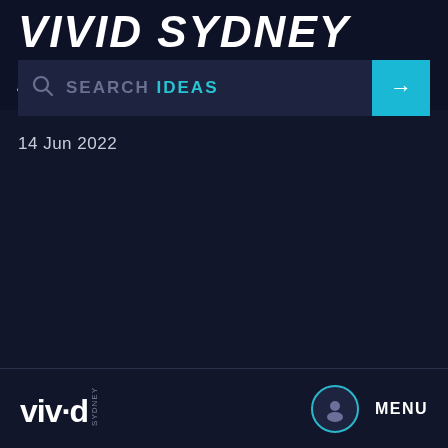VIVID SYDNEY 2022
SEARCH IDEAS
14 Jun 2022
[Figure (logo): Vivid Sydney logo with stylized 'vivid' text and 'SYDNEY' vertical label]
MENU